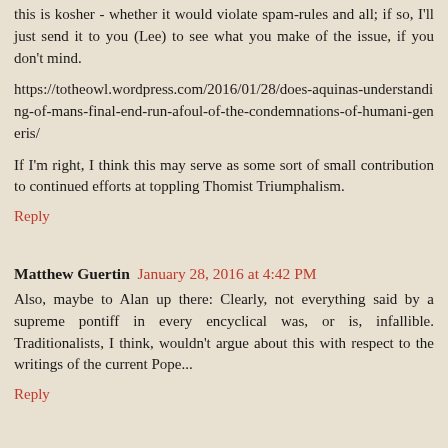this is kosher - whether it would violate spam-rules and all; if so, I'll just send it to you (Lee) to see what you make of the issue, if you don't mind.
https://totheowl.wordpress.com/2016/01/28/does-aquinas-understanding-of-mans-final-end-run-afoul-of-the-condemnations-of-humani-generis/
If I'm right, I think this may serve as some sort of small contribution to continued efforts at toppling Thomist Triumphalism.
Reply
Matthew Guertin January 28, 2016 at 4:42 PM
Also, maybe to Alan up there: Clearly, not everything said by a supreme pontiff in every encyclical was, or is, infallible. Traditionalists, I think, wouldn't argue about this with respect to the writings of the current Pope...
Reply